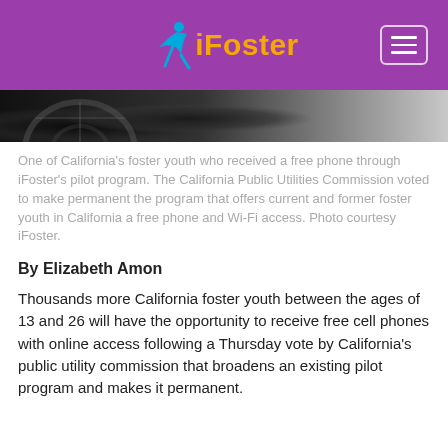iFoster
[Figure (photo): Bottom portion of a photo showing what appears to be a vehicle wheel/tire and ground, in dark tones with a lighter wall or surface in the background.]
One of California's foster youth who received a free phone through iFoster's pilot program. The California Public Utilities Commission voted to make permanent the program that offers current and former foster youth in California a free phone and Wi-Fi access. Photo courtesy iFoster.
By Elizabeth Amon
Thousands more California foster youth between the ages of 13 and 26 will have the opportunity to receive free cell phones with online access following a Thursday vote by California's public utility commission that broadens an existing pilot program and makes it permanent.